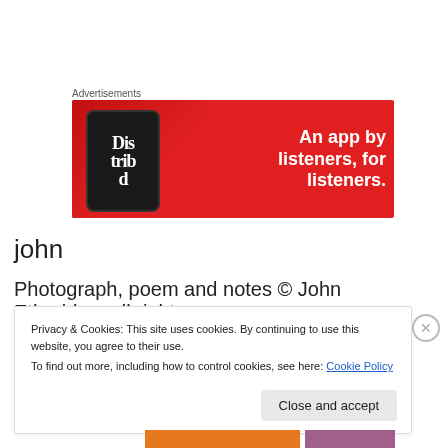Advertisements
[Figure (illustration): Red advertisement banner for a podcast app showing a smartphone with 'Distrib' text on screen and the tagline 'An app by listeners, for listeners.' in white bold text on red background]
john
Photograph, poem and notes © John Etheridge; all rights
Privacy & Cookies: This site uses cookies. By continuing to use this website, you agree to their use.
To find out more, including how to control cookies, see here: Cookie Policy
Close and accept